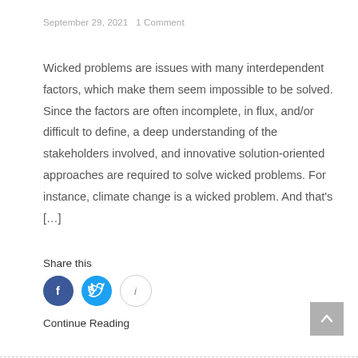September 29, 2021   1 Comment
Wicked problems are issues with many interdependent factors, which make them seem impossible to be solved. Since the factors are often incomplete, in flux, and/or difficult to define, a deep understanding of the stakeholders involved, and innovative solution-oriented approaches are required to solve wicked problems. For instance, climate change is a wicked problem. And that's […]
Share this
[Figure (other): Social sharing icons: Facebook (blue circle with F), Twitter (light blue circle with bird), and an info icon (grey outlined circle with i)]
Continue Reading